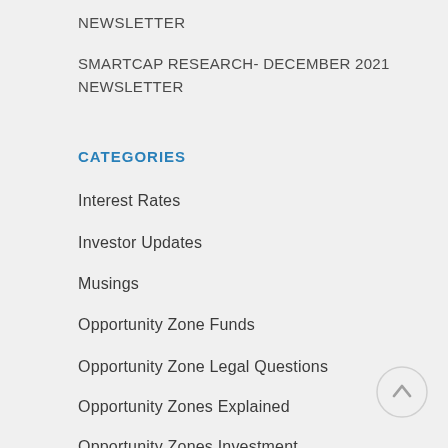NEWSLETTER
SMARTCAP RESEARCH- DECEMBER 2021 NEWSLETTER
CATEGORIES
Interest Rates
Investor Updates
Musings
Opportunity Zone Funds
Opportunity Zone Legal Questions
Opportunity Zones Explained
Opportunity Zones Investment